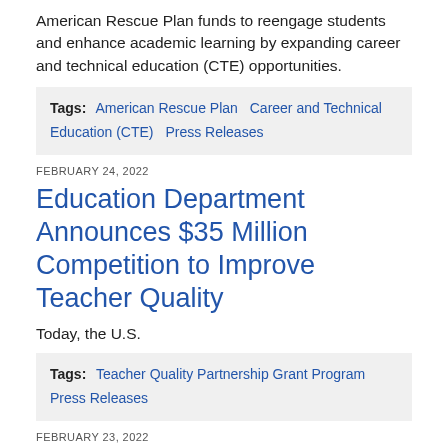American Rescue Plan funds to reengage students and enhance academic learning by expanding career and technical education (CTE) opportunities.
Tags: American Rescue Plan  Career and Technical Education (CTE)  Press Releases
FEBRUARY 24, 2022
Education Department Announces $35 Million Competition to Improve Teacher Quality
Today, the U.S.
Tags: Teacher Quality Partnership Grant Program  Press Releases
FEBRUARY 23, 2022
Wyoming's Keeley Anderson Named 2022 'Recognizing Inspiring School Employees' Awardee